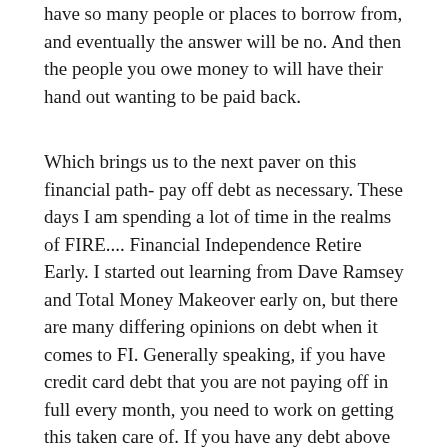have so many people or places to borrow from, and eventually the answer will be no. And then the people you owe money to will have their hand out wanting to be paid back.
Which brings us to the next paver on this financial path- pay off debt as necessary. These days I am spending a lot of time in the realms of FIRE.... Financial Independence Retire Early. I started out learning from Dave Ramsey and Total Money Makeover early on, but there are many differing opinions on debt when it comes to FI. Generally speaking, if you have credit card debt that you are not paying off in full every month, you need to work on getting this taken care of. If you have any debt above the amount of inflation(in the US it is somewhere between 2 and 3%), you need to work on getting it paid off. This might be less enticing to some as the...